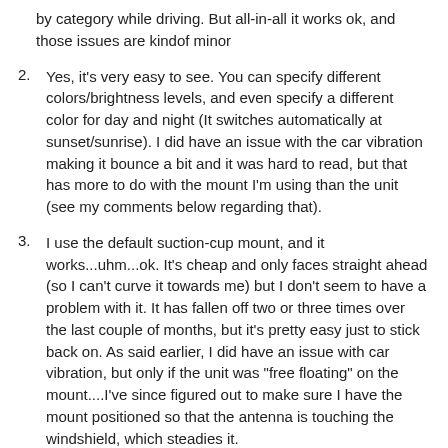by category while driving. But all-in-all it works ok, and those issues are kindof minor
2. Yes, it's very easy to see. You can specify different colors/brightness levels, and even specify a different color for day and night (It switches automatically at sunset/sunrise). I did have an issue with the car vibration making it bounce a bit and it was hard to read, but that has more to do with the mount I'm using than the unit (see my comments below regarding that).
3. I use the default suction-cup mount, and it works...uhm...ok. It's cheap and only faces straight ahead (so I can't curve it towards me) but I don't seem to have a problem with it. It has fallen off two or three times over the last couple of months, but it's pretty easy just to stick back on. As said earlier, I did have an issue with car vibration, but only if the unit was "free floating" on the mount....I've since figured out to make sure I have the mount positioned so that the antenna is touching the windshield, which steadies it.
Quote